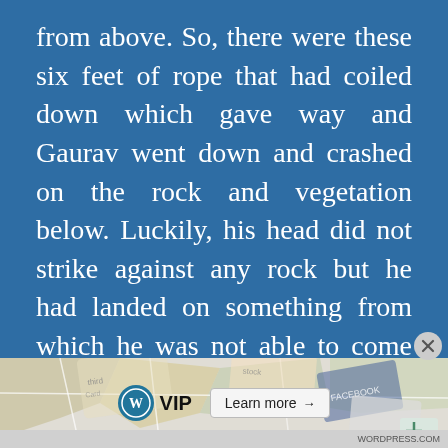from above. So, there were these six feet of rope that had coiled down which gave way and Gaurav went down and crashed on the rock and vegetation below. Luckily, his head did not strike against any rock but he had landed on something from which he was not able to come out. The pain was instantaneous but far less damaging than the bite he had averted. As blood dripped, he tried to look below and heard a distant 'thud' after about a minute that told Gaurav
[Figure (other): WordPress VIP advertisement banner with map background, WP VIP logo, and Learn more button]